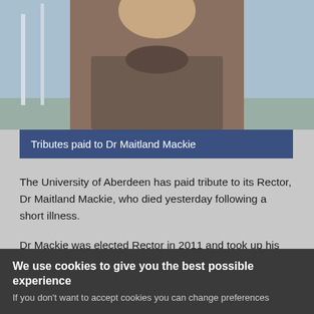[Figure (photo): Partial photo of Dr Maitland Mackie outdoors with wind turbines in background, showing upper body in a brown sweater.]
Tributes paid to Dr Maitland Mackie
The University of Aberdeen has paid tribute to its Rector, Dr Maitland Mackie, who died yesterday following a short illness.
Dr Mackie was elected Rector in 2011 and took up his post following a traditional ceremony in March 2012.
As Rector, he acted as the students' representative, particularly
We use cookies to give you the best possible experience
If you don't want to accept cookies you can change preferences